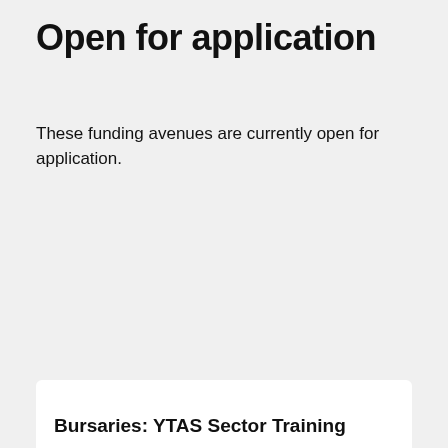Open for application
These funding avenues are currently open for application.
Bursaries: YTAS Sector Training